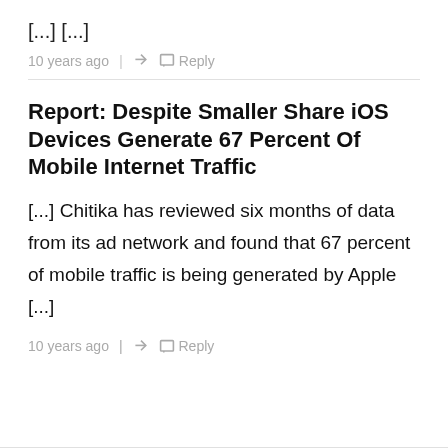[...] [...]
10 years ago  |  Reply
Report: Despite Smaller Share iOS Devices Generate 67 Percent Of Mobile Internet Traffic
[...] Chitika has reviewed six months of data from its ad network and found that 67 percent of mobile traffic is being generated by Apple [...]
10 years ago  |  Reply